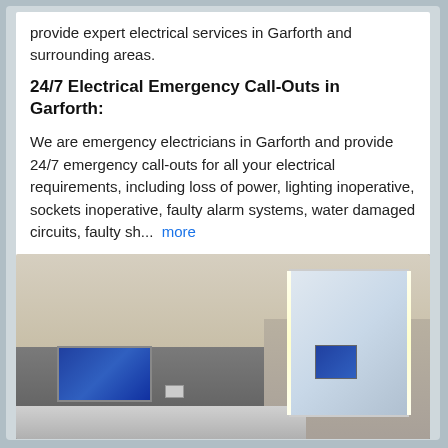provide expert electrical services in Garforth and surrounding areas.
24/7 Electrical Emergency Call-Outs in Garforth:
We are emergency electricians in Garforth and provide 24/7 emergency call-outs for all your electrical requirements, including loss of power, lighting inoperative, sockets inoperative, faulty alarm systems, water damaged circuits, faulty sh...  more
[Figure (photo): Photo of a modern bathroom with grey tile walls, a large illuminated mirror with LED side lighting, a small TV screen mounted on or near the counter, and a white countertop/vanity area.]